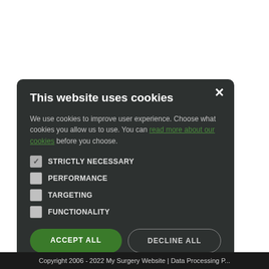This website uses cookies
We use cookies to improve user experience. Choose what cookies you allow us to use. You can read more about our cookies before you choose.
STRICTLY NECESSARY
PERFORMANCE
TARGETING
FUNCTIONALITY
ACCEPT ALL | DECLINE ALL
Copyright 2006 - 2022 My Surgery Website | Data Processing P...